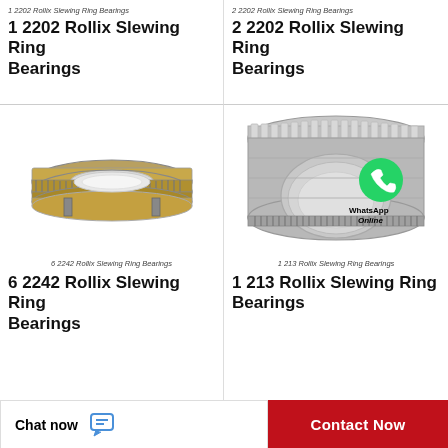1 2202 Rollix Slewing Ring Bearings
1 2202 Rollix Slewing Ring Bearings
2 2202 Rollix Slewing Ring Bearings
2 2202 Rollix Slewing Ring Bearings
[Figure (illustration): Slewing ring bearing - flat ring type with gear teeth, gold and silver metallic colors]
6 2242 Rollix Slewing Ring Bearings
6 2242 Rollix Slewing Ring Bearings
[Figure (illustration): Slewing ring bearing - cylindrical roller type, silver metallic with WhatsApp Online overlay]
1 213 Rollix Slewing Ring Bearings
1 213 Rollix Slewing Ring Bearings
Chat now
Contact Now